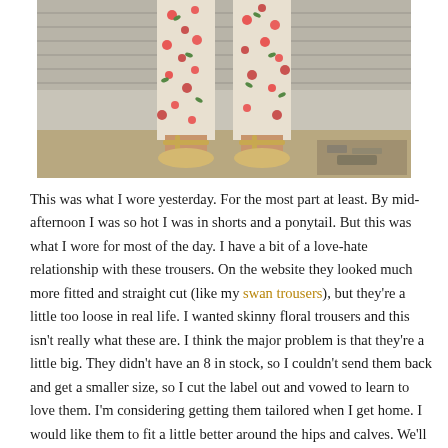[Figure (photo): Photo of a person's legs wearing floral print trousers (white background with red and green flowers) and gold strappy heeled sandals, standing on sandy/dirt ground with a grey wall behind.]
This was what I wore yesterday. For the most part at least. By mid-afternoon I was so hot I was in shorts and a ponytail. But this was what I wore for most of the day. I have a bit of a love-hate relationship with these trousers. On the website they looked much more fitted and straight cut (like my swan trousers), but they're a little too loose in real life. I wanted skinny floral trousers and this isn't really what these are. I think the major problem is that they're a little big. They didn't have an 8 in stock, so I couldn't send them back and get a smaller size, so I cut the label out and vowed to learn to love them. I'm considering getting them tailored when I get home. I would like them to fit a little better around the hips and calves. We'll see. Anyway, I actually quite like this outfit, despite